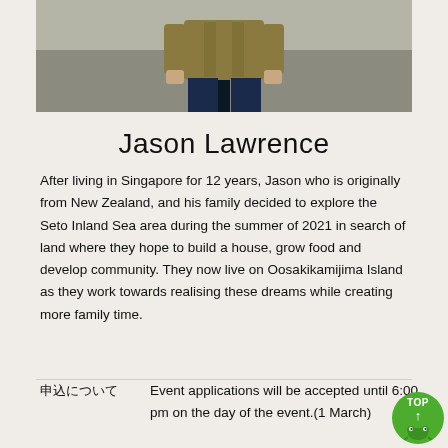[Figure (photo): Photo of a person (Jason Lawrence) wearing a khaki jacket and dark jeans, standing against a concrete wall background. Only the body from chest down is visible.]
Jason Lawrence
After living in Singapore for 12 years, Jason who is originally from New Zealand, and his family decided to explore the Seto Inland Sea area during the summer of 2021 in search of land where they hope to build a house, grow food and develop community. They now live on Oosakikamijima Island as they work towards realising these dreams while creating more family time.
申込について
Event applications will be accepted until 6:00 pm on the day of the event.(1 March)